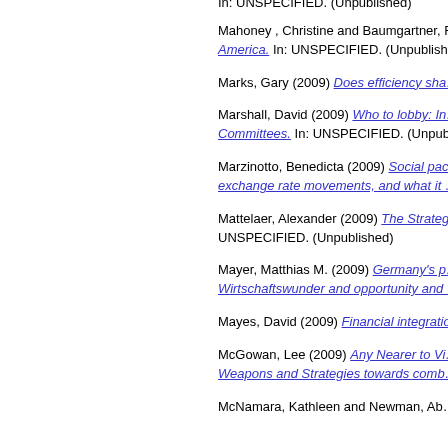In: UNSPECIFIED. (Unpublished)
Mahoney , Christine and Baumgartner, F... [America.] In: UNSPECIFIED. (Unpublish...
Marks, Gary (2009) Does efficiency sha...
Marshall, David (2009) Who to lobby: In... [Committees.] In: UNSPECIFIED. (Unpub...
Marzinotto, Benedicta (2009) Social pac... exchange rate movements, and what it ...
Mattelaer, Alexander (2009) The Strateg... UNSPECIFIED. (Unpublished)
Mayer, Matthias M. (2009) Germany's p... Wirtschaftswunder and opportunity and ...
Mayes, David (2009) Financial integratio...
McGowan, Lee (2009) Any Nearer to Vi... Weapons and Strategies towards comb...
McNamara, Kathleen and Newman, Ab...